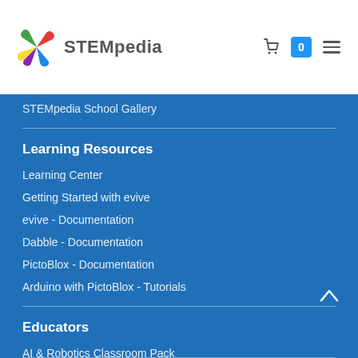STEMpedia
STEMpedia School Gallery
Learning Resources
Learning Center
Getting Started with evive
evive - Documentation
Dabble - Documentation
PictoBlox - Documentation
Arduino with PictoBlox - Tutorials
Educators
AI & Robotics Classroom Pack
STEM Classroom Bundles
STEM Curriculum